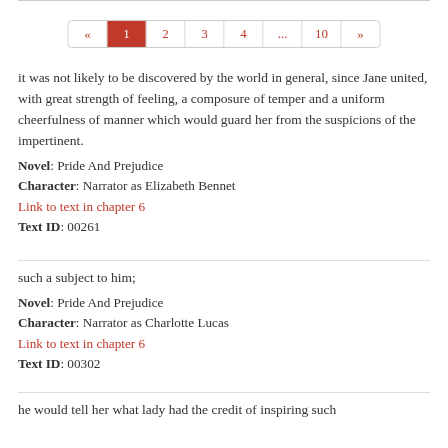[Figure (other): Pagination bar with page numbers: « 1 2 3 4 ... 10 »]
it was not likely to be discovered by the world in general, since Jane united, with great strength of feeling, a composure of temper and a uniform cheerfulness of manner which would guard her from the suspicions of the impertinent.
Novel: Pride And Prejudice
Character: Narrator as Elizabeth Bennet
Link to text in chapter 6
Text ID: 00261
such a subject to him;
Novel: Pride And Prejudice
Character: Narrator as Charlotte Lucas
Link to text in chapter 6
Text ID: 00302
he would tell her what lady had the credit of inspiring such